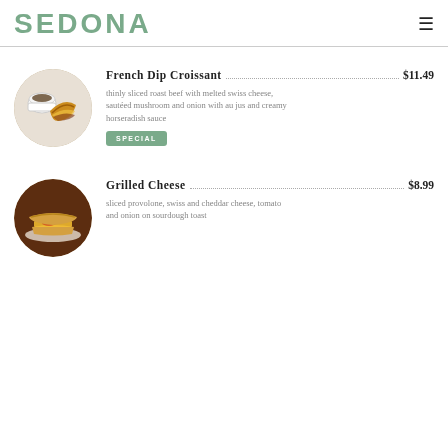SEDONA
French Dip Croissant $11.49 — thinly sliced roast beef with melted swiss cheese, sautéed mushroom and onion with au jus and creamy horseradish sauce. SPECIAL
Grilled Cheese $8.99 — sliced provolone, swiss and cheddar cheese, tomato and onion on sourdough toast